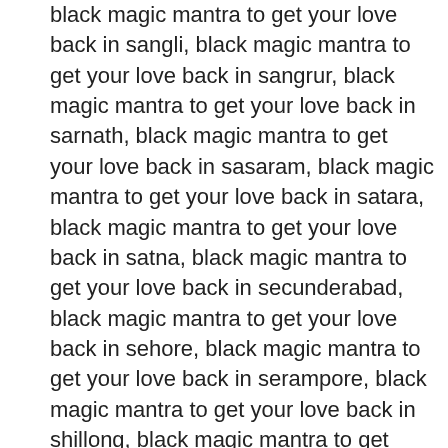black magic mantra to get your love back in sangli, black magic mantra to get your love back in sangrur, black magic mantra to get your love back in sarnath, black magic mantra to get your love back in sasaram, black magic mantra to get your love back in satara, black magic mantra to get your love back in satna, black magic mantra to get your love back in secunderabad, black magic mantra to get your love back in sehore, black magic mantra to get your love back in serampore, black magic mantra to get your love back in shillong, black magic mantra to get your love back in shimla, black magic mantra to get your love back in shirdi, black magic mantra to get your love back in shivaganga, black magic mantra to get your love back in shivpuri, black magic mantra to get your love back in sikar, black magic mantra to get your love back to get your love back in silvassa, black magic mantra to get your love back in singrauli, black magic mantra to get your love back in sirhind, black magic mantra to get your love back in sirsa, black magic mantra to get your love back in sitamrahi, black magic mantra to get your love back in siwan, black magic mantra to get your love back in somnath, black magic mantra to get your love back in sonipat, black magic mantra